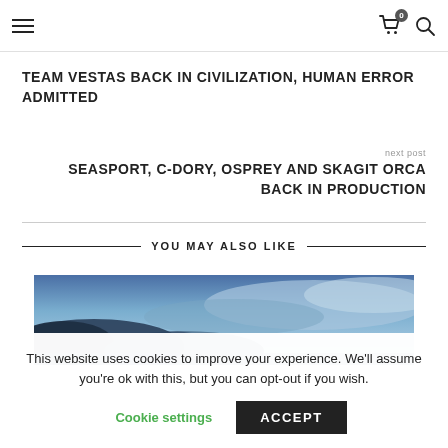Navigation bar with hamburger menu and cart/search icons
TEAM VESTAS BACK IN CIVILIZATION, HUMAN ERROR ADMITTED
next post
SEASPORT, C-DORY, OSPREY AND SKAGIT ORCA BACK IN PRODUCTION
YOU MAY ALSO LIKE
[Figure (photo): Blue sky with clouds, partial view of a marine or ocean scene]
This website uses cookies to improve your experience. We'll assume you're ok with this, but you can opt-out if you wish.
Cookie settings  ACCEPT